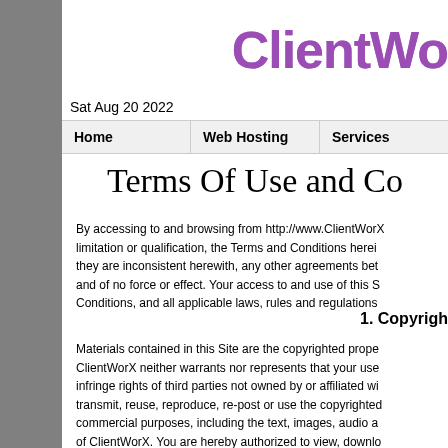[Figure (logo): ClientWorX logo text in purple gradient]
Sat Aug 20 2022
| Home | Web Hosting | Services |
| --- | --- | --- |
Terms Of Use and Co...
By accessing to and browsing from http://www.ClientWorX... limitation or qualification, the Terms and Conditions herein... they are inconsistent herewith, any other agreements bet... and of no force or effect. Your access to and use of this S... Conditions, and all applicable laws, rules and regulations...
1. Copyright
Materials contained in this Site are the copyrighted prope... ClientWorX neither warrants nor represents that your use... infringe rights of third parties not owned by or affiliated wi... transmit, reuse, reproduce, re-post or use the copyrighted... commercial purposes, including the text, images, audio a... of ClientWorX. You are hereby authorized to view, downlo... this Site subject to the following conditions: